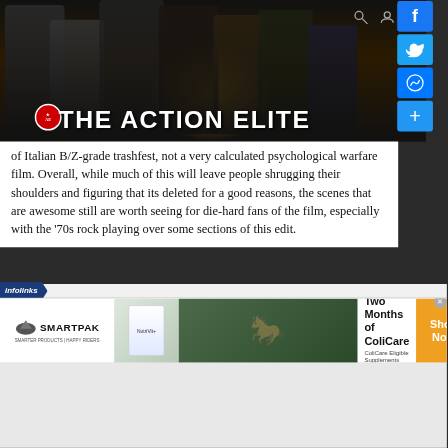[Figure (screenshot): The Action Elite website banner with group of action movie characters in black and white background, golden glow in center, with 'THE ACTION ELITE' text logo]
of Italian B/Z-grade trashfest, not a very calculated psychological warfare film. Overall, while much of this will leave people shrugging their shoulders and figuring that its deleted for a good reasons, the scenes that are awesome still are worth seeing for die-hard fans of the film, especially with the '70s rock playing over some sections of this edit.
[Figure (screenshot): SmartPak advertisement banner: 50% Off Two Months of ColiCare, ColiCare Eligible Supplements, CODE: COLICARE10, Shop Now button, with horse and rider image]